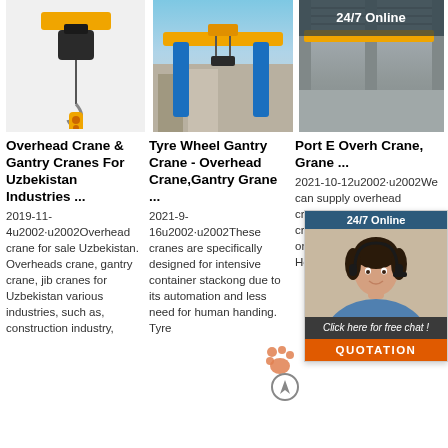[Figure (photo): Electric chain hoist with yellow body and hook, hanging against white background]
[Figure (photo): Tyre wheel gantry crane outdoors with yellow beam and blue legs near construction building]
[Figure (photo): Port overhead crane inside industrial warehouse, with 24/7 Online customer service popup overlay]
Overhead Crane & Gantry Cranes For Uzbekistan Industries ...
2019-11-4u2002·u2002Overhead crane for sale Uzbekistan. Overheads crane, gantry crane, jib cranes for Uzbekistan various industries, such as, construction industry,
Tyre Wheel Gantry Crane - Overhead Crane,Gantry Grane ...
2021-9-16u2002·u2002These cranes are specifically designed for intensive container stackong due to its automation and less need for human handing. Tyre
Port E Overh Crane, Grane ...
2021-10-12u2002·u2002We can supply overhead crane,gantry crane,launcher crane and so on,We are to online consultation! Position : Home > Products >